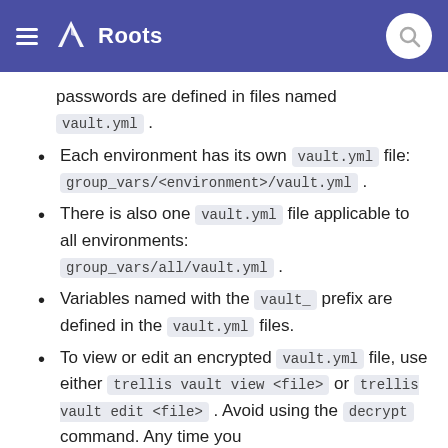Roots
passwords are defined in files named vault.yml .
Each environment has its own vault.yml file: group_vars/<environment>/vault.yml .
There is also one vault.yml file applicable to all environments: group_vars/all/vault.yml .
Variables named with the vault_ prefix are defined in the vault.yml files.
To view or edit an encrypted vault.yml file, use either trellis vault view <file> or trellis vault edit <file> . Avoid using the decrypt command. Any time you